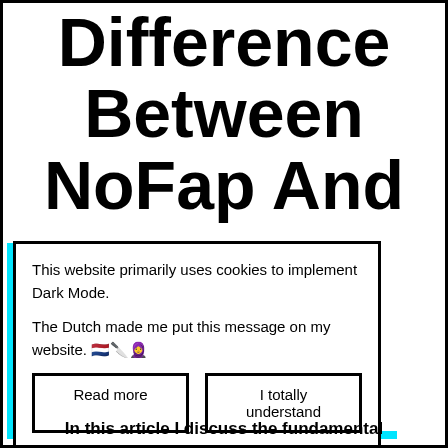Difference Between NoFap And
This website primarily uses cookies to implement Dark Mode.

The Dutch made me put this message on my website. 🇳🇱🔪🧘
Read more
I totally understand
In this article I discuss the fundamental